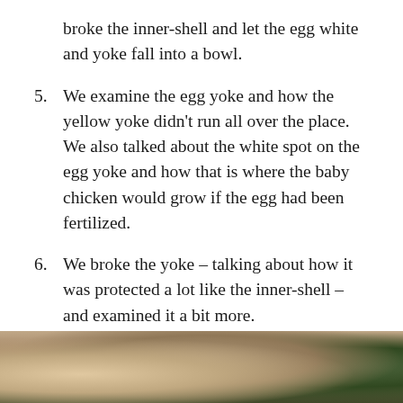broke the inner-shell and let the egg white and yoke fall into a bowl.
5. We examine the egg yoke and how the yellow yoke didn't run all over the place. We also talked about the white spot on the egg yoke and how that is where the baby chicken would grow if the egg had been fertilized.
6. We broke the yoke – talking about how it was protected a lot like the inner-shell – and examined it a bit more.
7. We cooked and ate the egg.
[Figure (photo): Close-up photo of what appears to be a child or person with light/blonde hair, possibly examining something, with some greenery visible on the right side.]